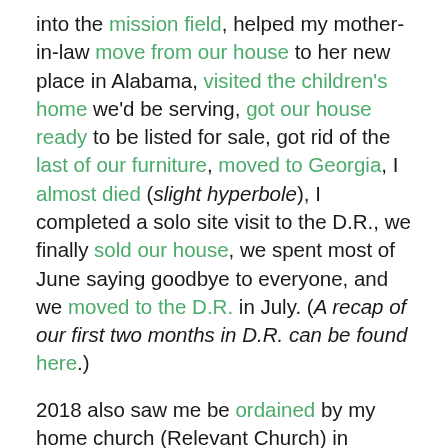into the mission field, helped my mother-in-law move from our house to her new place in Alabama, visited the children's home we'd be serving, got our house ready to be listed for sale, got rid of the last of our furniture, moved to Georgia, I almost died (slight hyperbole), I completed a solo site visit to the D.R., we finally sold our house, we spent most of June saying goodbye to everyone, and we moved to the D.R. in July. (A recap of our first two months in D.R. can be found here.)
2018 also saw me be ordained by my home church (Relevant Church) in Tampa, and had me mourning the passing of my aunt in Miami and my uncle in Puebla, Mexico. Lee and I were also blessed to be able to come home in September for her nephew's wedding and to catch up with family and friends...